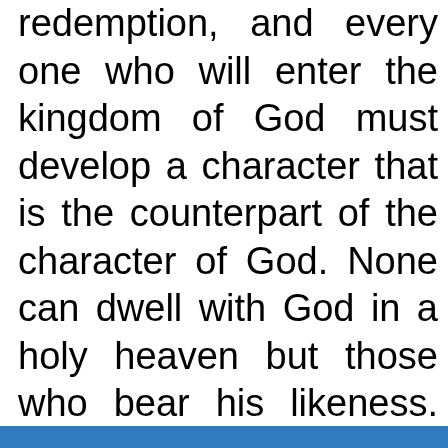redemption, and every one who will enter the kingdom of God must develop a character that is the counterpart of the character of God. None can dwell with God in a holy heaven but those who bear his likeness. Those who are redeemed will be overcomers; they will be elevated, pure, one with Christ.